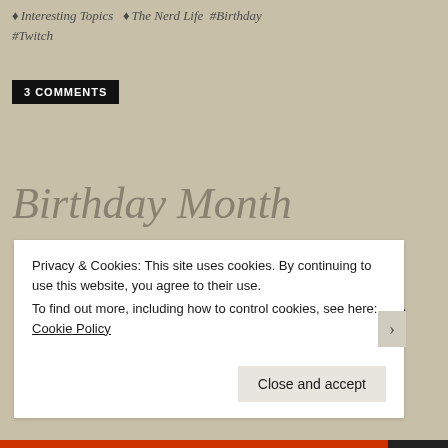♦ Interesting Topics  ♦ The Nerd Life  #Birthday #Twitch
3 COMMENTS
Birthday Month
April 1, 2020
Since I don't have children, I totally get a whole birthday month…Right?
Privacy & Cookies: This site uses cookies. By continuing to use this website, you agree to their use.
To find out more, including how to control cookies, see here: Cookie Policy
Close and accept